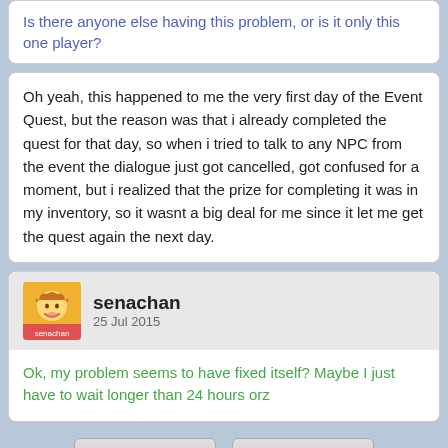Is there anyone else having this problem, or is it only this one player?
Oh yeah, this happened to me the very first day of the Event Quest, but the reason was that i already completed the quest for that day, so when i tried to talk to any NPC from the event the dialogue just got cancelled, got confused for a moment, but i realized that the prize for completing it was in my inventory, so it wasnt a big deal for me since it let me get the quest again the next day.
senachan
25 Jul 2015
Ok, my problem seems to have fixed itself? Maybe I just have to wait longer than 24 hours orz
Share
Share
« Prev
Locked
Next »
Full Version